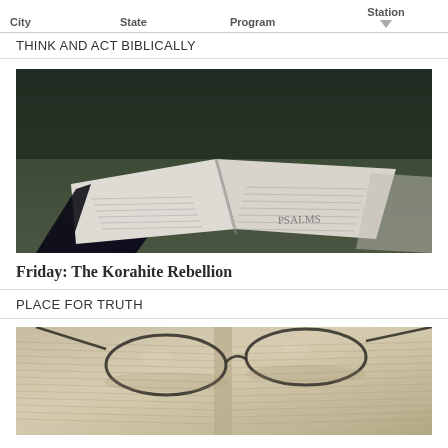City   State   Program   Station
THINK AND ACT BIBLICALLY
[Figure (photo): Open Bible showing Psalms pages, dark background]
Friday: The Korahite Rebellion
PLACE FOR TRUTH
[Figure (photo): Open Bible with reading glasses resting on pages, warm sepia tone]